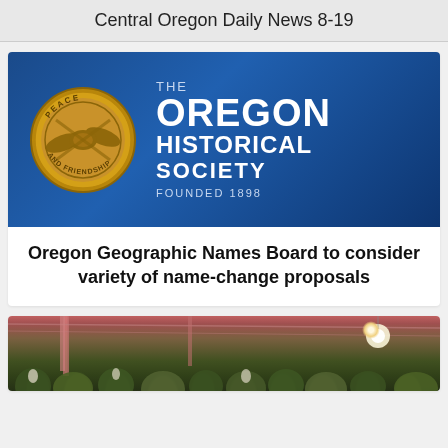Central Oregon Daily News 8-19
[Figure (logo): The Oregon Historical Society logo on a blue gradient background, featuring a gold medallion with a handshake and the text 'PEACE AND FRIENDSHIP', alongside white text reading 'THE OREGON HISTORICAL SOCIETY FOUNDED 1898']
Oregon Geographic Names Board to consider variety of name-change proposals
[Figure (photo): Indoor cannabis grow facility showing rows of cannabis plants under artificial lighting, with pink/red structural columns and a bright light bulb visible in the upper right area]